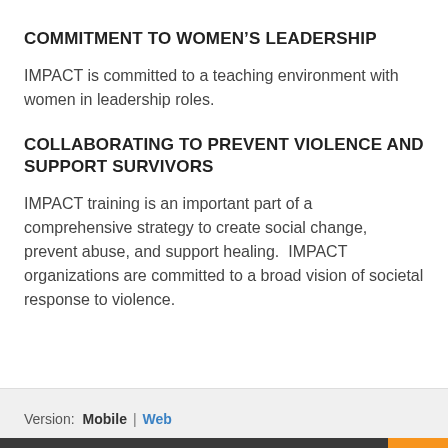COMMITMENT TO WOMEN'S LEADERSHIP
IMPACT is committed to a teaching environment with women in leadership roles.
COLLABORATING TO PREVENT VIOLENCE AND SUPPORT SURVIVORS
IMPACT training is an important part of a comprehensive strategy to create social change, prevent abuse, and support healing.  IMPACT organizations are committed to a broad vision of societal response to violence.
Version:  Mobile | Web